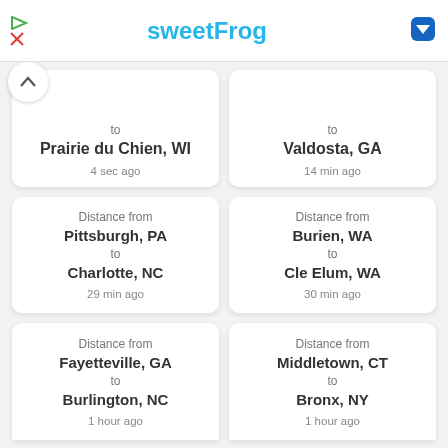sweetFrog
to Prairie du Chien, WI
4 sec ago
to Valdosta, GA
14 min ago
Distance from Pittsburgh, PA to Charlotte, NC
29 min ago
Distance from Burien, WA to Cle Elum, WA
30 min ago
Distance from Fayetteville, GA to Burlington, NC
1 hour ago
Distance from Middletown, CT to Bronx, NY
1 hour ago